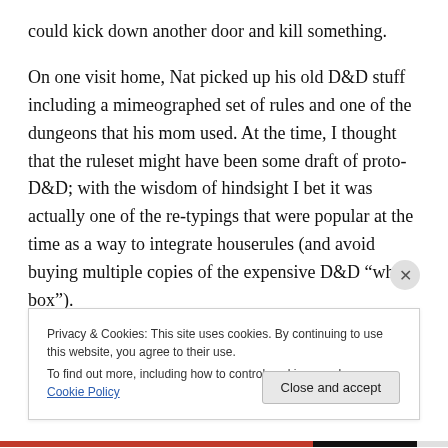could kick down another door and kill something.
On one visit home, Nat picked up his old D&D stuff including a mimeographed set of rules and one of the dungeons that his mom used. At the time, I thought that the ruleset might have been some draft of proto-D&D; with the wisdom of hindsight I bet it was actually one of the re-typings that were popular at the time as a way to integrate houserules (and avoid buying multiple copies of the expensive D&D “white box”).
Privacy & Cookies: This site uses cookies. By continuing to use this website, you agree to their use.
To find out more, including how to control cookies, see here: Cookie Policy
Close and accept